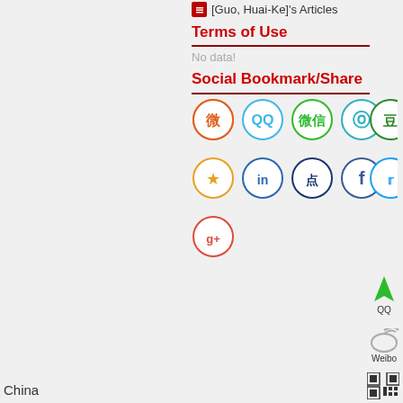[Guo, Huai-Ke]'s Articles
Terms of Use
No data!
Social Bookmark/Share
[Figure (infographic): Social bookmark/share icons: Weibo (orange circle), QQ (blue circle), WeChat (green circle), Pinterest (teal circle), Douban (green circle), Favorite star (orange circle), LinkedIn (blue circle), Dot (dark blue circle), Facebook (dark blue circle), Twitter (blue circle), Google+ (red circle)]
[Figure (infographic): QQ floating icon (green penguin) with label QQ]
[Figure (infographic): Weibo floating icon with label Weibo]
[Figure (infographic): QR code image]
China